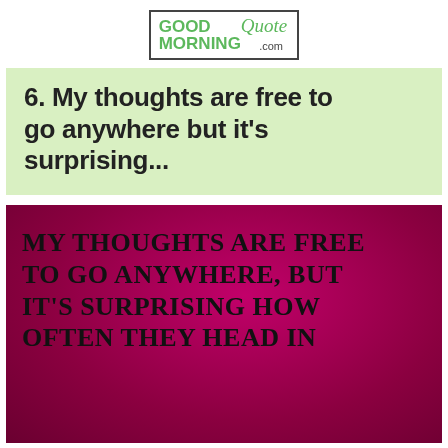[Figure (logo): GoodMorningQuote.com logo in a bordered box]
6. My thoughts are free to go anywhere but it's surprising...
[Figure (infographic): Pink/magenta gradient background with bold black text reading: MY THOUGHTS ARE FREE TO GO ANYWHERE, BUT IT'S SURPRISING HOW OFTEN THEY HEAD IN]